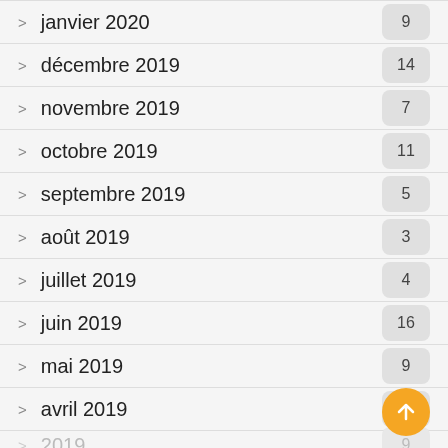janvier 2020  9
décembre 2019  14
novembre 2019  7
octobre 2019  11
septembre 2019  5
août 2019  3
juillet 2019  4
juin 2019  16
mai 2019  9
avril 2019  5